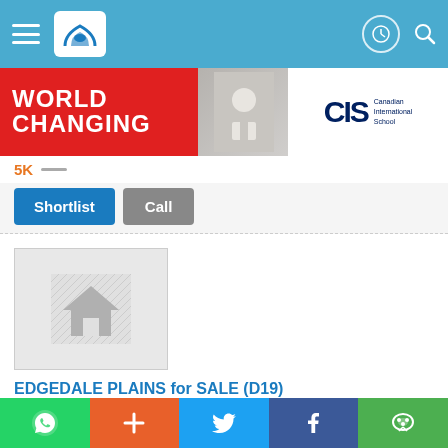Navigation bar with menu, logo, and icons
[Figure (screenshot): Canadian International School advertisement banner with WORLD CHANGING text and CIS logo]
SK —
Shortlist  Call
[Figure (photo): Placeholder house image with no-photo icon]
EDGEDALE PLAINS for SALE (D19)
HDB
683A EDGEDALE PLAINS
ENQUIRE
WhatsApp | + | Twitter | Facebook | WeChat share buttons